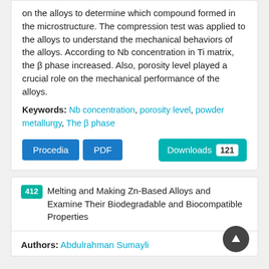on the alloys to determine which compound formed in the microstructure. The compression test was applied to the alloys to understand the mechanical behaviors of the alloys. According to Nb concentration in Ti matrix, the β phase increased. Also, porosity level played a crucial role on the mechanical performance of the alloys.
Keywords: Nb concentration, porosity level, powder metallurgy, The β phase
Procedia  PDF  Downloads 121
412 Melting and Making Zn-Based Alloys and Examine Their Biodegradable and Biocompatible Properties
Authors: Abdulrahman Sumayli